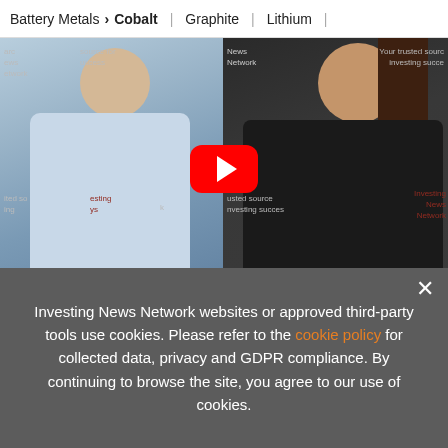Battery Metals > Cobalt | Graphite | Lithium |
[Figure (screenshot): YouTube video thumbnail showing two people in an interview setting (man on left in blue shirt, woman on right in dark clothing) with Investing News Network branding in the background and a YouTube play button overlay]
[Figure (infographic): Advertisement banner: Updated Aug 9, 2022. INN logo. 2022 Cobalt Outlook Report. TOP COBALT Stocks, Trends, Expert Forecasts. Cobalt Outlook 2022 book cover image.]
Cob... a boo... will the cobalt market continue to perform well in
Investing News Network websites or approved third-party tools use cookies. Please refer to the cookie policy for collected data, privacy and GDPR compliance. By continuing to browse the site, you agree to our use of cookies.